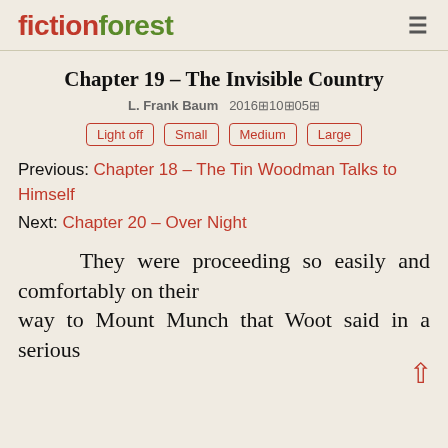fictionforest
Chapter 19 – The Invisible Country
L. Frank Baum  2016⊠10⊠05⊠
Light off
Small
Medium
Large
Previous: Chapter 18 – The Tin Woodman Talks to Himself
Next: Chapter 20 – Over Night
They were proceeding so easily and comfortably on their way to Mount Munch that Woot said in a serious